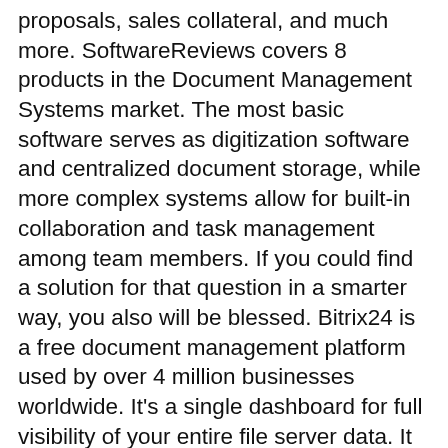proposals, sales collateral, and much more. SoftwareReviews covers 8 products in the Document Management Systems market. The most basic software serves as digitization software and centralized document storage, while more complex systems allow for built-in collaboration and task management among team members. If you could find a solution for that question in a smarter way, you also will be blessed. Bitrix24 is a free document management platform used by over 4 million businesses worldwide. It's a single dashboard for full visibility of your entire file server data. It also has an organized archiving system. FileHold Document Management Software System Full-featured document management software from FileHold is feature rich, enterprise grade and affordable. Even though there are number of document management system today..there will be some feature missing from each other. Output accurate and error-free documents every time with our dynamic document generation solution. Document management software helps automate and track the unique workflow of